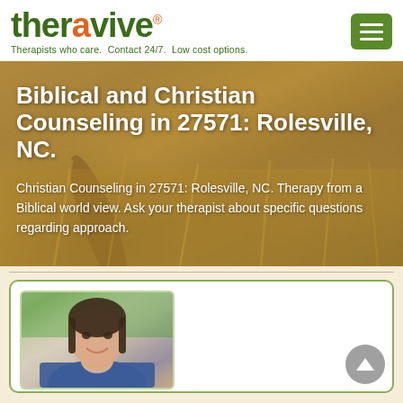[Figure (logo): Theravive logo with green and orange text, tagline: Therapists who care. Contact 24/7. Low cost options.]
Biblical and Christian Counseling in 27571: Rolesville, NC.
Christian Counseling in 27571: Rolesville, NC. Therapy from a Biblical world view. Ask your therapist about specific questions regarding approach.
[Figure (photo): Professional headshot photo of a smiling female therapist with dark hair, wearing a blue top and necklace, with a blurred green outdoor background.]